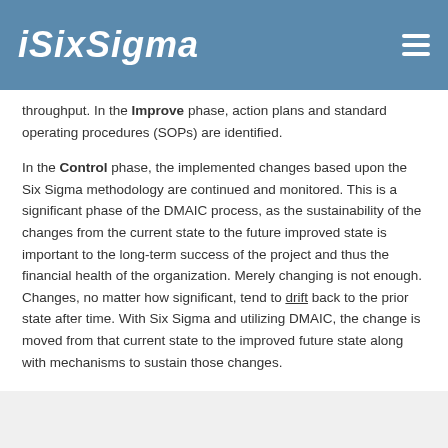ISIXSIGMA
throughput. In the Improve phase, action plans and standard operating procedures (SOPs) are identified.
In the Control phase, the implemented changes based upon the Six Sigma methodology are continued and monitored. This is a significant phase of the DMAIC process, as the sustainability of the changes from the current state to the future improved state is important to the long-term success of the project and thus the financial health of the organization. Merely changing is not enough. Changes, no matter how significant, tend to drift back to the prior state after time. With Six Sigma and utilizing DMAIC, the change is moved from that current state to the improved future state along with mechanisms to sustain those changes.